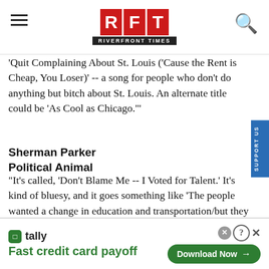RFT RIVERFRONT TIMES
'Quit Complaining About St. Louis (Cause the Rent is Cheap, You Loser)' -- a song for people who don't do anything but bitch about St. Louis. An alternate title could be 'As Cool as Chicago.'"
Sherman Parker
Political Animal
"It's called, 'Don't Blame Me -- I Voted for Talent.' It's kind of bluesy, and it goes something like 'The people wanted a change in education and transportation/but they voted for the same ol' lame game/Now who's to blame?/Not me/I voted for Talent.'"
[Figure (infographic): Tally advertisement banner: Tally logo with text 'Fast credit card payoff' and green 'Download Now' button with close/help icons]